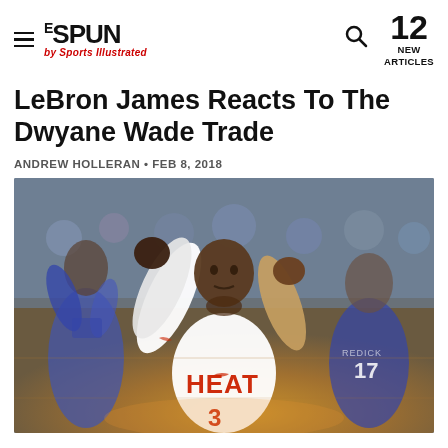THE SPUN by Sports Illustrated — 12 NEW ARTICLES
LeBron James Reacts To The Dwyane Wade Trade
ANDREW HOLLERAN • FEB 8, 2018
[Figure (photo): Dwyane Wade in a white Miami Heat jersey with his fists raised in celebration, with blurred background players including a player in blue jersey #17]